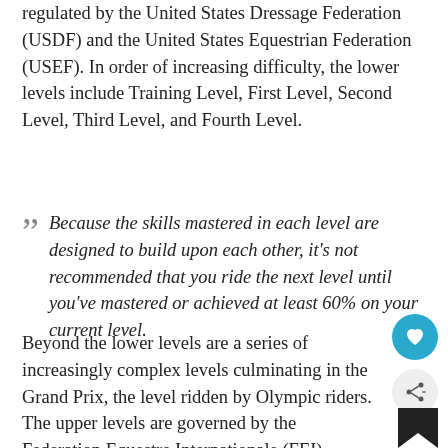the United States, lower levels are regulated by the United States Dressage Federation (USDF) and the United States Equestrian Federation (USEF). In order of increasing difficulty, the lower levels include Training Level, First Level, Second Level, Third Level, and Fourth Level.
Because the skills mastered in each level are designed to build upon each other, it's not recommended that you ride the next level until you've mastered or achieved at least 60% on your current level.
Beyond the lower levels are a series of increasingly complex levels culminating in the Grand Prix, the level ridden by Olympic riders. The upper levels are governed by the Federation Equestre Internationale (FEI).